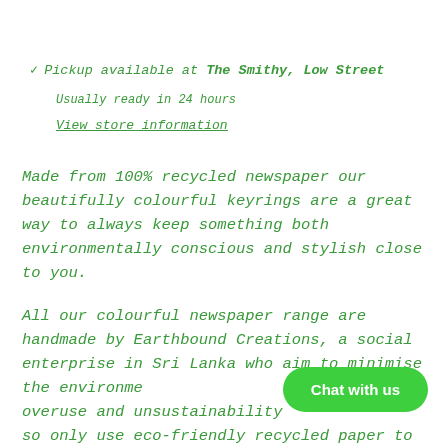✓ Pickup available at The Smithy, Low Street
Usually ready in 24 hours
View store information
Made from 100% recycled newspaper our beautifully colourful keyrings are a great way to always keep something both environmentally conscious and stylish close to you.
All our colourful newspaper range are handmade by Earthbound Creations, a social enterprise in Sri Lanka who aim to minimise the environmental impact caused by the overuse and unsustainability of plastics, so only use eco-friendly recycled paper to create stunning